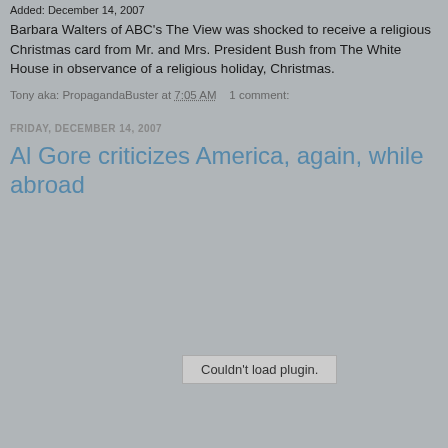Added: December 14, 2007
Barbara Walters of ABC’s The View was shocked to receive a religious Christmas card from Mr. and Mrs. President Bush from The White House in observance of a religious holiday, Christmas.
Tony aka: PropagandaBuster at 7:05 AM    1 comment:
FRIDAY, DECEMBER 14, 2007
Al Gore criticizes America, again, while abroad
[Figure (other): Plugin placeholder box with text: Couldn't load plugin.]